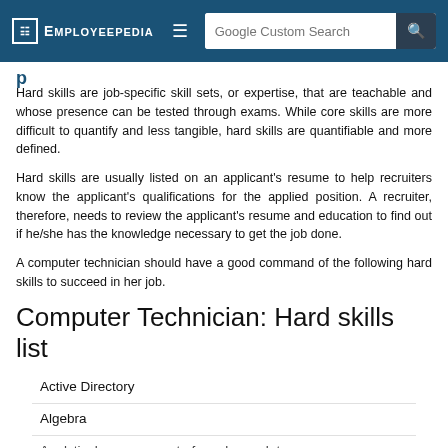EMPLOYEEPEDIA | Google Custom Search
Hard skills (partial heading visible)
Hard skills are job-specific skill sets, or expertise, that are teachable and whose presence can be tested through exams. While core skills are more difficult to quantify and less tangible, hard skills are quantifiable and more defined.
Hard skills are usually listed on an applicant's resume to help recruiters know the applicant's qualifications for the applied position. A recruiter, therefore, needs to review the applicant's resume and education to find out if he/she has the knowledge necessary to get the job done.
A computer technician should have a good command of the following hard skills to succeed in her job.
Computer Technician: Hard skills list
Active Directory
Algebra
Analytical management of employee data (partial)